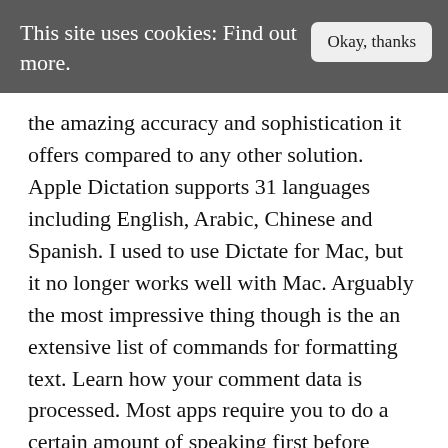This site uses cookies: Find out more.   Okay, thanks
the amazing accuracy and sophistication it offers compared to any other solution. Apple Dictation supports 31 languages including English, Arabic, Chinese and Spanish. I used to use Dictate for Mac, but it no longer works well with Mac. Arguably the most impressive thing though is the an extensive list of commands for formatting text. Learn how your comment data is processed. Most apps require you to do a certain amount of speaking first before using it so it can familiarize itself with your voice and accent. You think much faster than you can type which means you can get